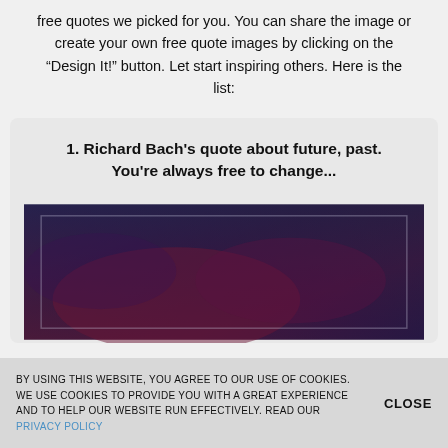free quotes we picked for you. You can share the image or create your own free quote images by clicking on the "Design It!" button. Let start inspiring others. Here is the list:
1. Richard Bach's quote about future, past. You're always free to change...
[Figure (illustration): A dark blue and purple/mauve toned decorative image with a lighter rectangular border/frame overlay, used as a quote background image.]
BY USING THIS WEBSITE, YOU AGREE TO OUR USE OF COOKIES. WE USE COOKIES TO PROVIDE YOU WITH A GREAT EXPERIENCE AND TO HELP OUR WEBSITE RUN EFFECTIVELY. READ OUR PRIVACY POLICY